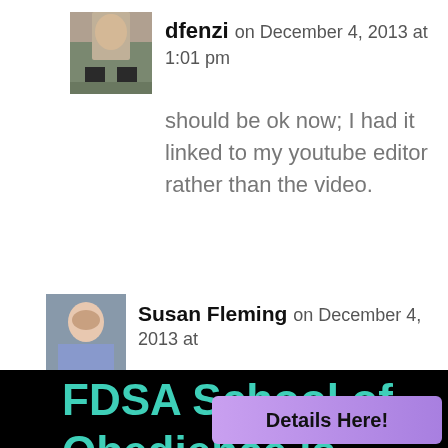[Figure (photo): Avatar photo of dfenzi, showing outdoor scene with person/legs]
dfenzi on December 4, 2013 at 1:01 pm
should be ok now; I had it linked to my youtube editor rather than the video.
[Figure (photo): Avatar photo of Susan Fleming, showing a person outdoors]
Susan Fleming on December 4, 2013 at
FDSA School of Obedience is Hosting "Competition Obedience"- a
Details Here!